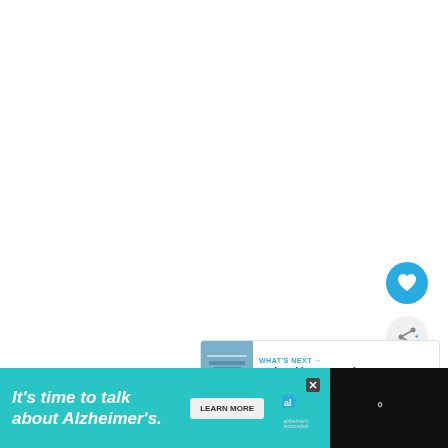[Figure (screenshot): White empty content area — appears to be a webpage with blank main content region]
[Figure (infographic): Blue circular heart/like button and light grey circular share button on right side of page]
[Figure (screenshot): What's Next panel showing cruise ship promenade thumbnail image and label 'WHAT'S NEXT →' with title 'Cruise Ship Promenade...']
[Figure (infographic): Advertisement banner: dark background with teal ad panel. Text reads 'It's time to talk about Alzheimer's.' with LEARN MORE button, Alzheimer's Association logo, and W logo on right.]